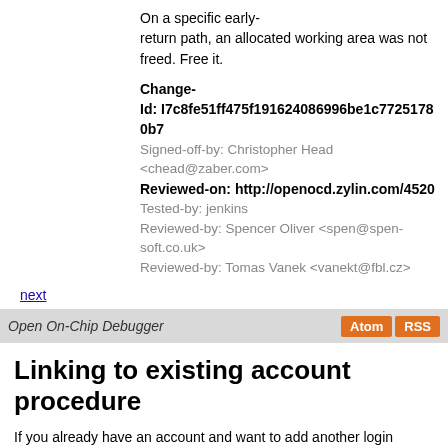On a specific early-return path, an allocated working area was not freed. Free it.

Change-Id: I7c8fe51ff475f191624086996be1c77251780b7
Signed-off-by: Christopher Head <chead@zaber.com>
Reviewed-on: http://openocd.zylin.com/4520
Tested-by: jenkins
Reviewed-by: Spencer Oliver <spen@spen-soft.co.uk>
Reviewed-by: Tomas Vanek <vanekt@fbl.cz>
next
Open On-Chip Debugger
Linking to existing account procedure
If you already have an account and want to add another login method you MUST first sign in with your existing account and then change URL to read https://review.openocd.org/login/?link to get to this page again but this time it'll work for linking. Thank you.
SSH host keys fingerprints